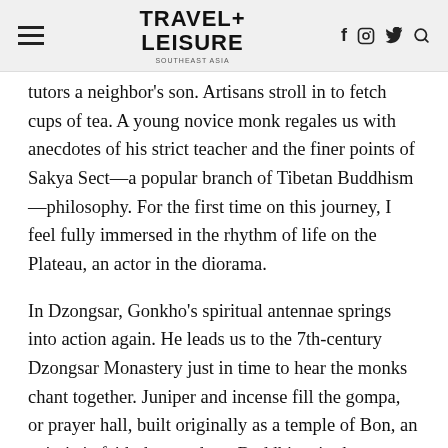TRAVEL+ LEISURE
tutors a neighbor's son. Artisans stroll in to fetch cups of tea. A young novice monk regales us with anecdotes of his strict teacher and the finer points of Sakya Sect—a popular branch of Tibetan Buddhism—philosophy. For the first time on this journey, I feel fully immersed in the rhythm of life on the Plateau, an actor in the diorama.
In Dzongsar, Gonkho's spiritual antennae springs into action again. He leads us to the 7th-century Dzongsar Monastery just in time to hear the monks chant together. Juniper and incense fill the gompa, or prayer hall, built originally as a temple of Bon, an animistic faith that predates Buddhism in these parts. Dzongsar has suffered many upheavals. It's been torn down and rebuilt. Yet, the monks carry on with unwavering compassion and